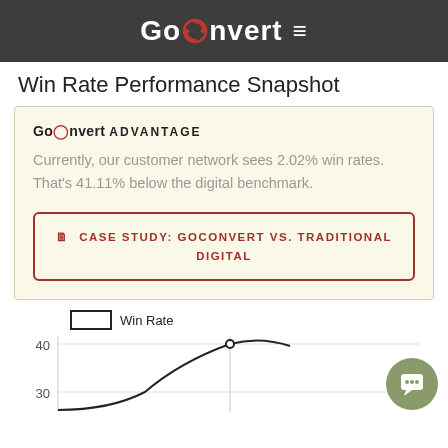GoConvert ≡
Win Rate Performance Snapshot
GoConvert ADVANTAGE
Currently, our customer network sees 2.02% win rates. That's 41.11% below the digital benchmark.
CASE STUDY: GOCONVERT VS. TRADITIONAL DIGITAL
[Figure (line-chart): Partial line chart showing Win Rate with y-axis labels 40 and 30, legend box labeled Win Rate]